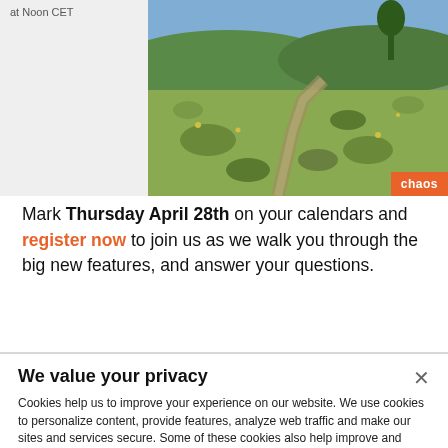[Figure (photo): Top section with two panels: left panel is light grey with text 'at Noon CET', right panel is a nature/landscape photo with a path through green scrubland, with an orange 'chaos' badge in the bottom right corner.]
Mark Thursday April 28th on your calendars and register now to join us as we walk you through the big new features, and answer your questions.
We value your privacy
Cookies help us to improve your experience on our website. We use cookies to personalize content, provide features, analyze web traffic and make our sites and services secure. Some of these cookies also help improve and track our marketing efforts. Cookie policy